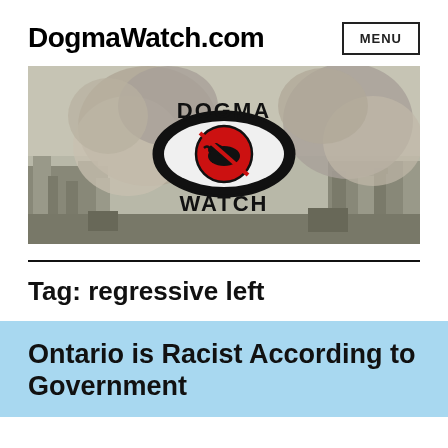DogmaWatch.com
[Figure (illustration): DogmaWatch.com banner image showing a war scene with smoke/explosions in the background and a 'Dogma Watch' logo in the center — a stylized eye with a bull in a red circle-slash symbol.]
Tag: regressive left
Ontario is Racist According to Government